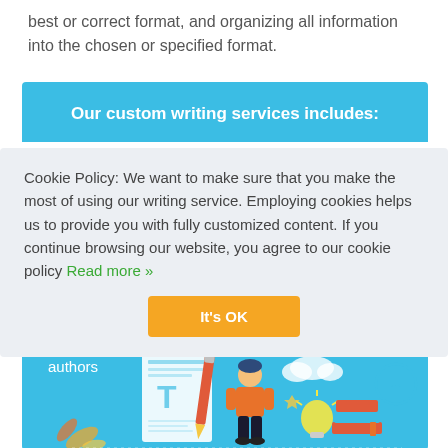best or correct format, and organizing all information into the chosen or specified format.
Our custom writing services includes:
Cookie Policy: We want to make sure that you make the most of using our writing service. Employing cookies helps us to provide you with fully customized content. If you continue browsing our website, you agree to our cookie policy Read more »
It's OK
authors
[Figure (illustration): Illustration of a person in orange shirt holding a large pencil next to a document with a large letter T, with clouds, a lightbulb, books, and decorative leaves on a blue background]